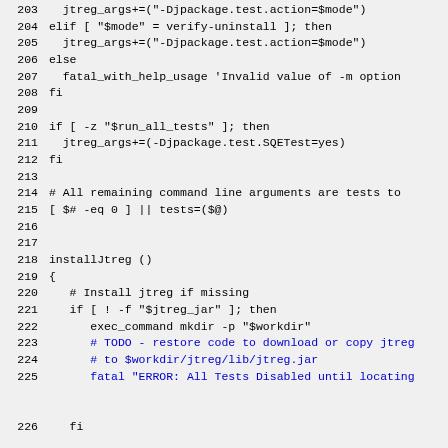Shell script code lines 203-226 showing jtreg argument construction, conditional logic for run_all_tests, installJtreg function definition with jtreg jar installation logic including TODO comments and fatal error message.